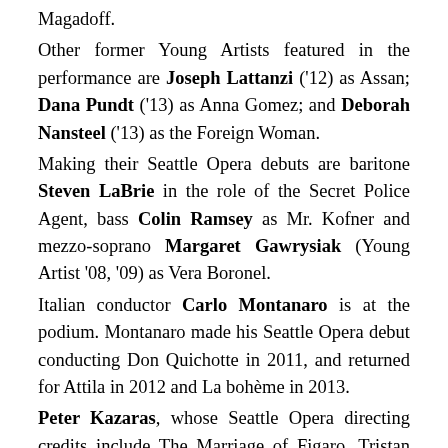Magadoff.
Other former Young Artists featured in the performance are Joseph Lattanzi ('12) as Assan; Dana Pundt ('13) as Anna Gomez; and Deborah Nansteel ('13) as the Foreign Woman.
Making their Seattle Opera debuts are baritone Steven LaBrie in the role of the Secret Police Agent, bass Colin Ramsey as Mr. Kofner and mezzo-soprano Margaret Gawrysiak (Young Artist '08, '09) as Vera Boronel.
Italian conductor Carlo Montanaro is at the podium. Montanaro made his Seattle Opera debut conducting Don Quichotte in 2011, and returned for Attila in 2012 and La bohème in 2013.
Peter Kazaras, whose Seattle Opera directing credits include The Marriage of Figaro, Tristan und Isolde, The Barber of Seville and Madama Butterfly, returns to direct this successful thriller.